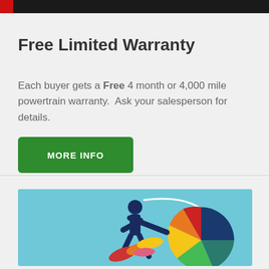Free Limited Warranty
Each buyer gets a Free 4 month or 4,000 mile powertrain warranty.  Ask your salesperson for details.
MORE INFO
[Figure (illustration): Illustration of a person figure pushing/interacting with a colorful pie chart with a curved white arrow above it, on a light blue background. The pie chart has segments in blue, teal/dark blue, yellow, orange, red, pink, and green colors.]